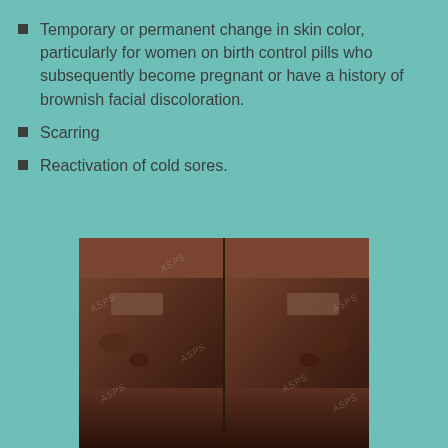Temporary or permanent change in skin color, particularly for women on birth control pills who subsequently become pregnant or have a history of brownish facial discoloration.
Scarring
Reactivation of cold sores.
[Figure (photo): Side-by-side before and after clinical photographs of a patient showing facial skin condition with hyperpigmentation/scarring, with eyes redacted for privacy. Watermarked with ASPS logo.]